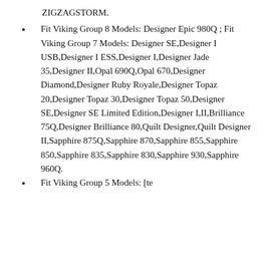ZIGZAGSTORM.
Fit Viking Group 8 Models: Designer Epic 980Q ; Fit Viking Group 7 Models: Designer SE,Designer I USB,Designer I ESS,Designer I,Designer Jade 35,Designer II,Opal 690Q,Opal 670,Designer Diamond,Designer Ruby Royale,Designer Topaz 20,Designer Topaz 30,Designer Topaz 50,Designer SE,Designer SE Limited Edition,Designer I,II,Brilliance 75Q,Designer Brilliance 80,Quilt Designer,Quilt Designer II,Sapphire 875Q,Sapphire 870,Sapphire 855,Sapphire 850,Sapphire 835,Sapphire 830,Sapphire 930,Sapphire 960Q.
Fit Viking Group 5 Models: [partially visible]